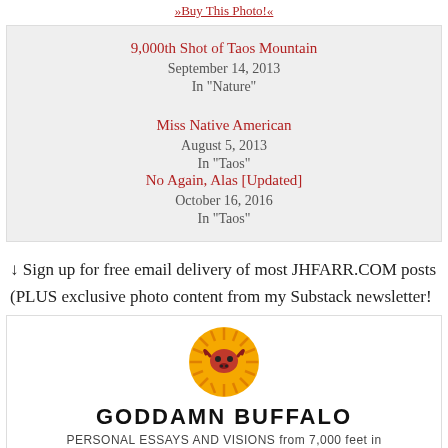»Buy This Photo!«
9,000th Shot of Taos Mountain
September 14, 2013
In "Nature"

No Again, Alas [Updated]
October 16, 2016
In "Taos"

Miss Native American
August 5, 2013
In "Taos"
↓ Sign up for free email delivery of most JHFARR.COM posts
(PLUS exclusive photo content from my Substack newsletter!
[Figure (logo): Goddamn Buffalo logo - circular orange/yellow sunburst with red buffalo skull in center]
GODDAMN BUFFALO
PERSONAL ESSAYS AND VISIONS from 7,000 feet in